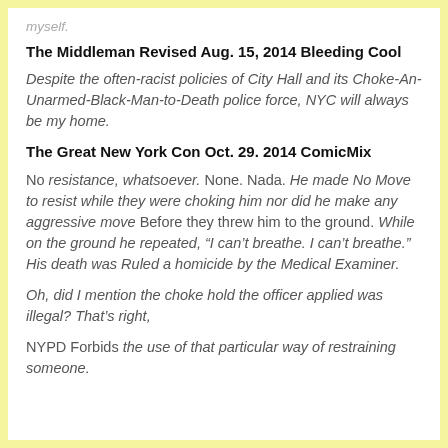myself.
The Middleman Revised Aug. 15, 2014 Bleeding Cool
Despite the often-racist policies of City Hall and its Choke-An-Unarmed-Black-Man-to-Death police force, NYC will always be my home.
The Great New York Con Oct. 29. 2014 ComicMix
No resistance, whatsoever. None. Nada. He made No Move to resist while they were choking him nor did he make any aggressive move Before they threw him to the ground. While on the ground he repeated, “I can’t breathe. I can’t breathe.” His death was Ruled a homicide by the Medical Examiner.
Oh, did I mention the choke hold the officer applied was illegal? That’s right,
NYPD Forbids the use of that particular way of restraining someone.